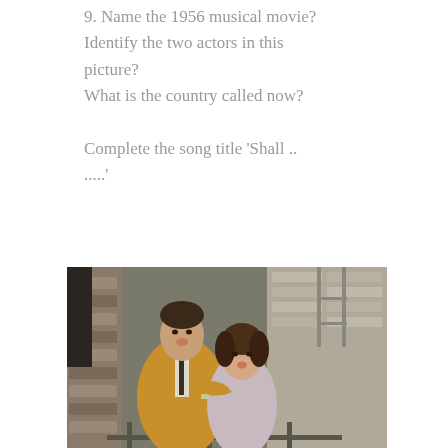9. Name the 1956 musical movie? Identify the two actors in this picture? What is the country called now?

Complete the song title 'Shall .. .....'
[Figure (photo): A man in a yellow/mustard blazer with a dark tie and a woman in a light pink top, both looking upward with open mouths as if singing, embracing on what appears to be a fire escape or balcony with brick wall background — a still from a 1956 musical movie.]